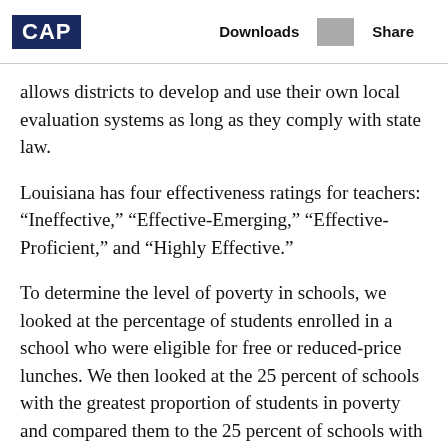CAP | Downloads | Share
allows districts to develop and use their own local evaluation systems as long as they comply with state law.
Louisiana has four effectiveness ratings for teachers: “Ineffective,” “Effective-Emerging,” “Effective-Proficient,” and “Highly Effective.”
To determine the level of poverty in schools, we looked at the percentage of students enrolled in a school who were eligible for free or reduced-price lunches. We then looked at the 25 percent of schools with the greatest proportion of students in poverty and compared them to the 25 percent of schools with the smallest proportion of students in poverty. Louisiana has 316 schools with the highest levels of poverty; with a a